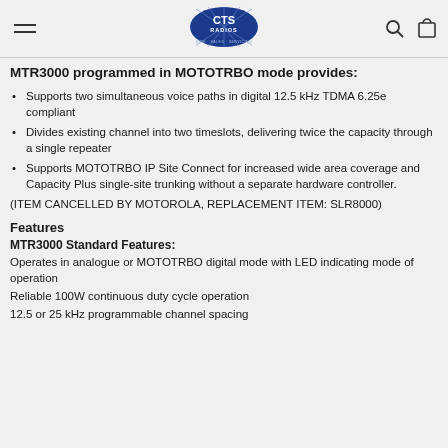CTS Radios - HIRE · SALES · SERVICING
MTR3000 programmed in MOTOTRBO mode provides:
Supports two simultaneous voice paths in digital 12.5 kHz TDMA 6.25e compliant
Divides existing channel into two timeslots, delivering twice the capacity through a single repeater
Supports MOTOTRBO IP Site Connect for increased wide area coverage and Capacity Plus single-site trunking without a separate hardware controller.
(ITEM CANCELLED BY MOTOROLA, REPLACEMENT ITEM: SLR8000)
Features
MTR3000 Standard Features:
Operates in analogue or MOTOTRBO digital mode with LED indicating mode of operation
Reliable 100W continuous duty cycle operation
12.5 or 25 kHz programmable channel spacing